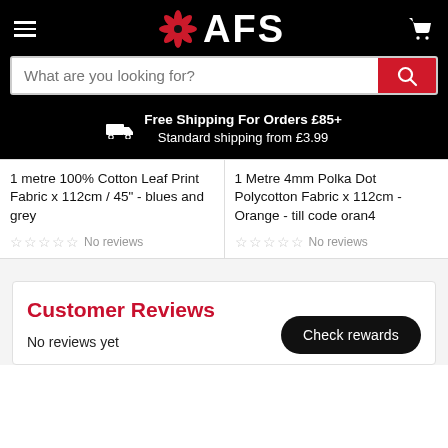AFS
What are you looking for?
Free Shipping For Orders £85+
Standard shipping from £3.99
1 metre 100% Cotton Leaf Print Fabric x 112cm / 45" - blues and grey
No reviews
1 Metre 4mm Polka Dot Polycotton Fabric x 112cm - Orange - till code oran4
No reviews
Customer Reviews
No reviews yet
Check rewards